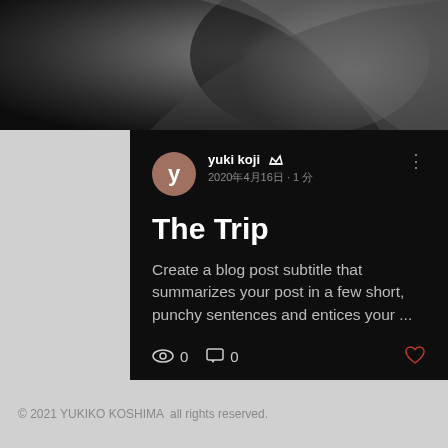[Figure (photo): Black and white photo showing an arm/person, partially visible, grayscale tones]
yuki koji 👑
2020年4月16日 · 1 分
The Trip
Create a blog post subtitle that summarizes your post in a few short, punchy sentences and entices your ...
👁 0   💬 0   ♡
© 2021 YUKIKO KOSHIMA  all rights reserved.